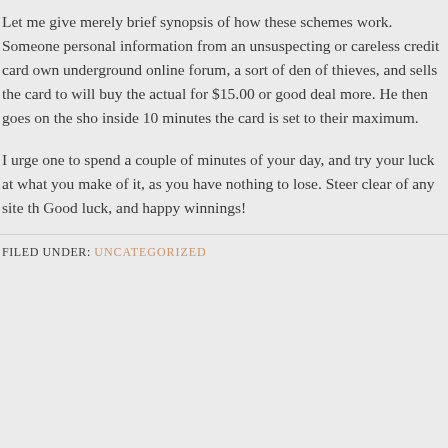Let me give merely brief synopsis of how these schemes work. Someone personal information from an unsuspecting or careless credit card own underground online forum, a sort of den of thieves, and sells the card to will buy the actual for $15.00 or good deal more. He then goes on the sho inside 10 minutes the card is set to their maximum.

I urge one to spend a couple of minutes of your day, and try your luck at what you make of it, as you have nothing to lose. Steer clear of any site th Good luck, and happy winnings!
FILED UNDER: UNCATEGORIZED